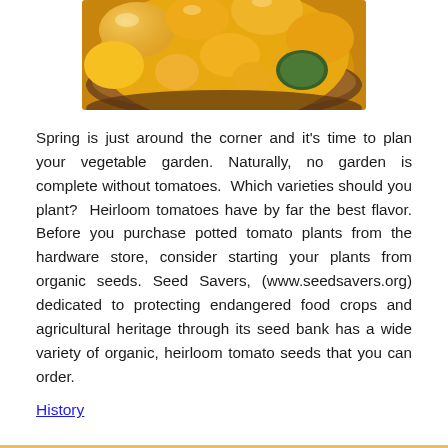[Figure (photo): Photo of yellow/orange heirloom cherry tomatoes in a wooden bowl, viewed from above, partially cropped at top]
Spring is just around the corner and it’s time to plan your vegetable garden. Naturally, no garden is complete without tomatoes.  Which varieties should you plant?  Heirloom tomatoes have by far the best flavor. Before you purchase potted tomato plants from the hardware store, consider starting your plants from organic seeds. Seed Savers, (www.seedsavers.org) dedicated to protecting endangered food crops and agricultural heritage through its seed bank has a wide variety of organic, heirloom tomato seeds that you can order.
History